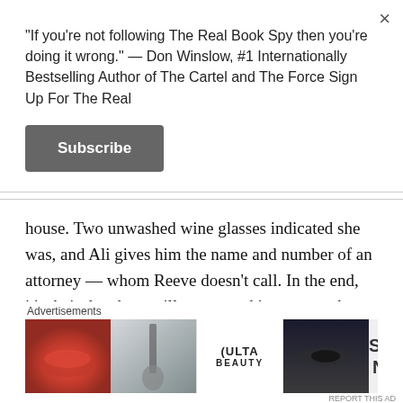“If you’re not following The Real Book Spy then you’re doing it wrong.” — Don Winslow, #1 Internationally Bestselling Author of The Cartel and The Force Sign Up For The Real
Subscribe
house. Two unwashed wine glasses indicated she was, and Ali gives him the name and number of an attorney — whom Reeve doesn’t call. In the end, it’s their daughter, still young and innocent, who makes Ali reverse course and get involved, even though she’s technically not allowed to because her past relationship with Reeve is a clear conflict of interest. Ali had an
Advertisements
[Figure (photo): Ulta beauty advertisement banner showing makeup imagery (lips, brush, eyes) with ULTA logo and SHOP NOW text]